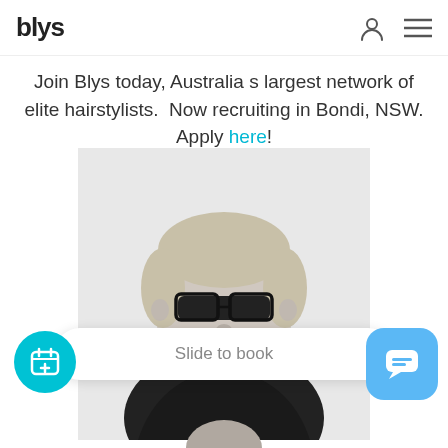blys
Join Blys today, Australia s largest network of elite hairstylists.  Now recruiting in Bondi, NSW. Apply here!
[Figure (photo): Black and white photo of a smiling woman with short blonde hair and black-rimmed glasses, wearing a black top]
Slide to book
[Figure (photo): Partial view of a second person's head at the bottom of the page]